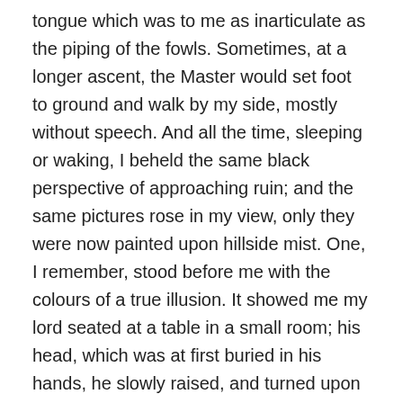tongue which was to me as inarticulate as the piping of the fowls. Sometimes, at a longer ascent, the Master would set foot to ground and walk by my side, mostly without speech. And all the time, sleeping or waking, I beheld the same black perspective of approaching ruin; and the same pictures rose in my view, only they were now painted upon hillside mist. One, I remember, stood before me with the colours of a true illusion. It showed me my lord seated at a table in a small room; his head, which was at first buried in his hands, he slowly raised, and turned upon me a countenance from which hope had fled. I saw it first on the black window-panes, my last night in Durrisdeer; it haunted and returned upon me half the voyage through; and yet it was no effect of lunacy, for I have come to a ripe old age with no decay of my intelligence; nor yet (as I was then tempted to suppose) a heaven-sent warning of the future, for all manner of calamities befell, not that calamity